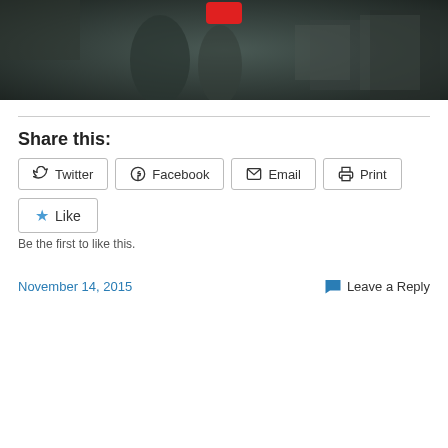[Figure (photo): A dark, blurry indoor scene resembling a surveillance or security camera image. A red logo/icon is visible at the top center.]
Share this:
Twitter  Facebook  Email  Print
Like
Be the first to like this.
November 14, 2015
Leave a Reply